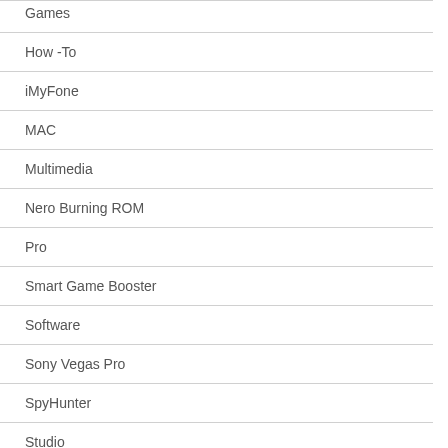Games
How -To
iMyFone
MAC
Multimedia
Nero Burning ROM
Pro
Smart Game Booster
Software
Sony Vegas Pro
SpyHunter
Studio
Tenorshare 4uKey
Uncategorized